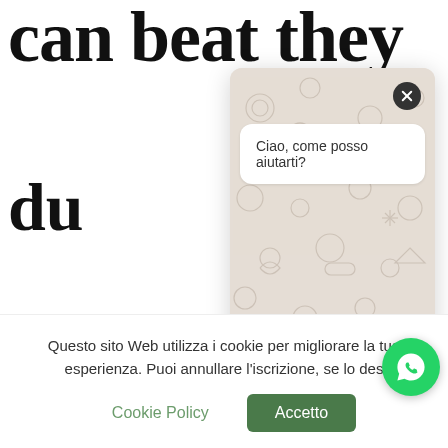can beat they
du
GIUGNO 1
[Figure (screenshot): WhatsApp chat popup overlay with beige/tan patterned background (WhatsApp emoji icons pattern). At top right is a dark close button (X). A white speech bubble contains the text 'Ciao, come posso aiutarti?'. At the bottom is a white rounded input field and a green send button with a paper plane arrow icon.]
Questo sito Web utilizza i cookie per migliorare la tua esperienza. Puoi annullare l'iscrizione, se lo des
Cookie Policy
Accetto
[Figure (illustration): Green circular WhatsApp floating button with white WhatsApp phone handset logo]